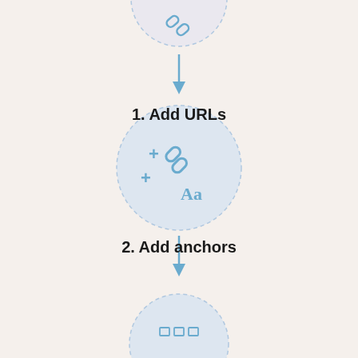[Figure (flowchart): Step 1: Add URLs - circle with chain link and plus icon at top (partially visible), arrow pointing down, then step 2: Add anchors - circle with chain link, plus signs, and Aa text label, arrow pointing down, then partially visible third circle at bottom with grid icon]
1. Add URLs
2. Add anchors